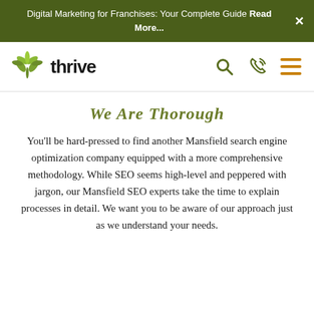Digital Marketing for Franchises: Your Complete Guide Read More...
[Figure (logo): Thrive Internet Marketing Agency logo with green leaf/plant graphic and lowercase 'thrive' text]
We Are Thorough
You'll be hard-pressed to find another Mansfield search engine optimization company equipped with a more comprehensive methodology. While SEO seems high-level and peppered with jargon, our Mansfield SEO experts take the time to explain processes in detail. We want you to be aware of our approach just as we understand your needs.